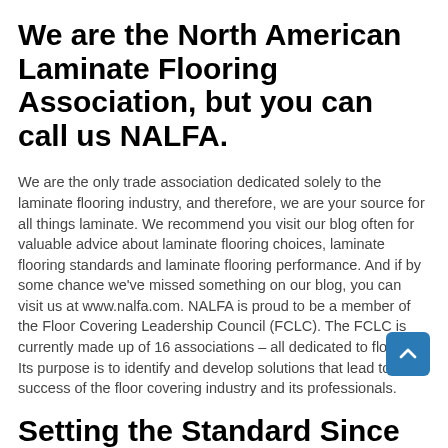We are the North American Laminate Flooring Association, but you can call us NALFA.
We are the only trade association dedicated solely to the laminate flooring industry, and therefore, we are your source for all things laminate. We recommend you visit our blog often for valuable advice about laminate flooring choices, laminate flooring standards and laminate flooring performance. And if by some chance we've missed something on our blog, you can visit us at www.nalfa.com. NALFA is proud to be a member of the Floor Covering Leadership Council (FCLC). The FCLC is currently made up of 16 associations – all dedicated to flooring. Its purpose is to identify and develop solutions that lead to the success of the floor covering industry and its professionals.
[Figure (other): Blue scroll-to-top button with an upward chevron arrow]
Setting the Standard Since